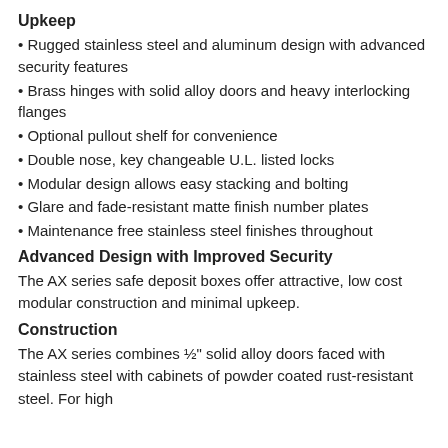Upkeep
• Rugged stainless steel and aluminum design with advanced security features
• Brass hinges with solid alloy doors and heavy interlocking flanges
• Optional pullout shelf for convenience
• Double nose, key changeable U.L. listed locks
• Modular design allows easy stacking and bolting
• Glare and fade-resistant matte finish number plates
• Maintenance free stainless steel finishes throughout
Advanced Design with Improved Security
The AX series safe deposit boxes offer attractive, low cost modular construction and minimal upkeep.
Construction
The AX series combines ½" solid alloy doors faced with stainless steel with cabinets of powder coated rust-resistant steel. For high